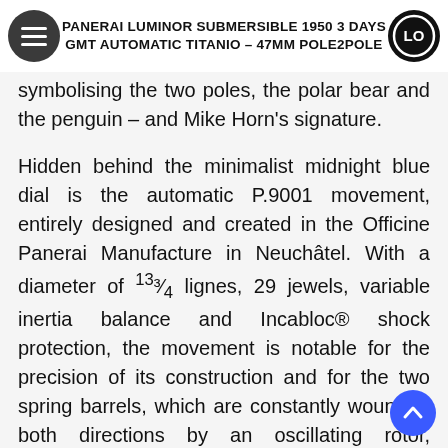PANERAI LUMINOR SUBMERSIBLE 1950 3 DAYS GMT AUTOMATIC TITANIO – 47MM POLE2POLE
symbolising the two poles, the polar bear and the penguin – and Mike Horn's signature.

Hidden behind the minimalist midnight blue dial is the automatic P.9001 movement, entirely designed and created in the Officine Panerai Manufacture in Neuchâtel. With a diameter of ¹³³⁄₄ lignes, 29 jewels, variable inertia balance and Incabloc® shock protection, the movement is notable for the precision of its construction and for the two spring barrels, which are constantly wound in both directions by an oscillating rotor, providing a power reserve of three days. The movement also has the GMT function, displaying home time with a central hand